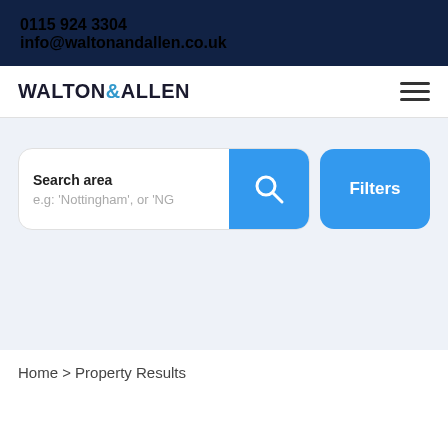0115 924 3304
info@waltonandallen.co.uk
WALTON & ALLEN
[Figure (other): Hamburger menu icon (three horizontal lines)]
Search area
e.g: 'Nottingham', or 'NG
[Figure (other): Search magnifying glass icon button (blue background)]
Filters
Home > Property Results